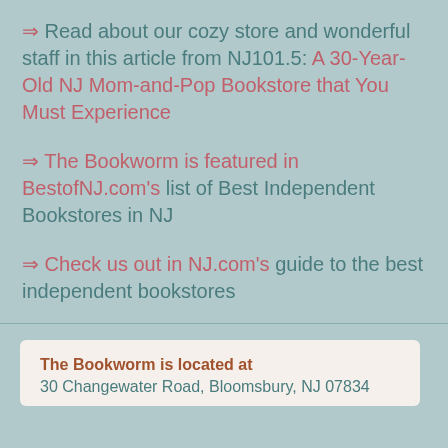⇒ Read about our cozy store and wonderful staff in this article from NJ101.5: A 30-Year-Old NJ Mom-and-Pop Bookstore that You Must Experience
⇒ The Bookworm is featured in BestofNJ.com's list of Best Independent Bookstores in NJ
⇒ Check us out in NJ.com's guide to the best independent bookstores
The Bookworm is located at
30 Changewater Road, Bloomsbury, NJ 07834